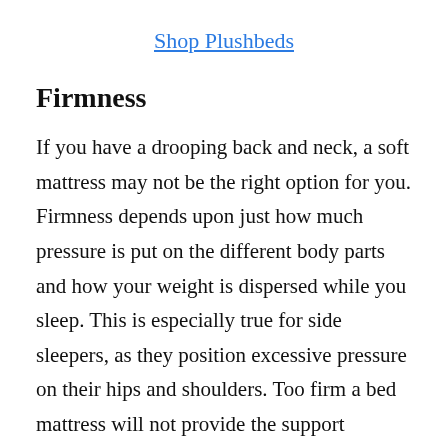Shop Plushbeds
Firmness
If you have a drooping back and neck, a soft mattress may not be the right option for you. Firmness depends upon just how much pressure is put on the different body parts and how your weight is dispersed while you sleep. This is especially true for side sleepers, as they position excessive pressure on their hips and shoulders. Too firm a bed mattress will not provide the support required for this position. You must